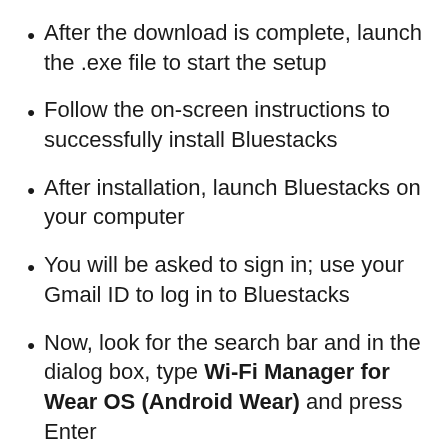After the download is complete, launch the .exe file to start the setup
Follow the on-screen instructions to successfully install Bluestacks
After installation, launch Bluestacks on your computer
You will be asked to sign in; use your Gmail ID to log in to Bluestacks
Now, look for the search bar and in the dialog box, type Wi-Fi Manager for Wear OS (Android Wear) and press Enter
Select the most appropriate app from the search results and then click on it to expand
Click on the Install button to begin the